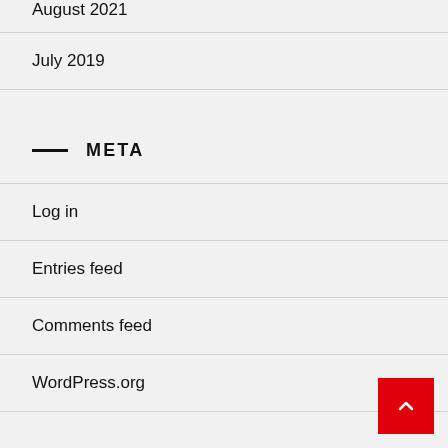August 2021
July 2019
META
Log in
Entries feed
Comments feed
WordPress.org